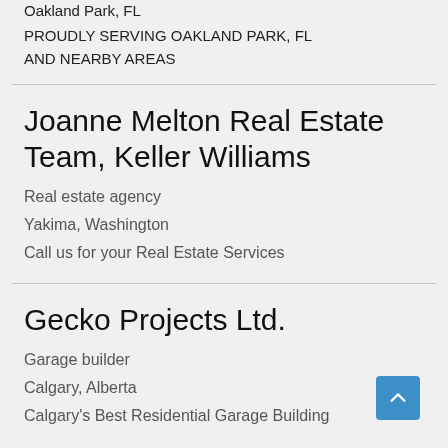Oakland Park, FL
PROUDLY SERVING OAKLAND PARK, FL AND NEARBY AREAS
Joanne Melton Real Estate Team, Keller Williams
Real estate agency
Yakima, Washington
Call us for your Real Estate Services
Gecko Projects Ltd.
Garage builder
Calgary, Alberta
Calgary's Best Residential Garage Building